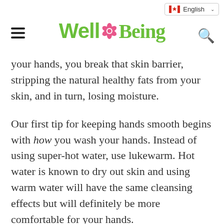WellBeing | English
your hands, you break that skin barrier, stripping the natural healthy fats from your skin, and in turn, losing moisture.
Our first tip for keeping hands smooth begins with how you wash your hands. Instead of using super-hot water, use lukewarm. Hot water is known to dry out skin and using warm water will have the same cleansing effects but will definitely be more comfortable for your hands.